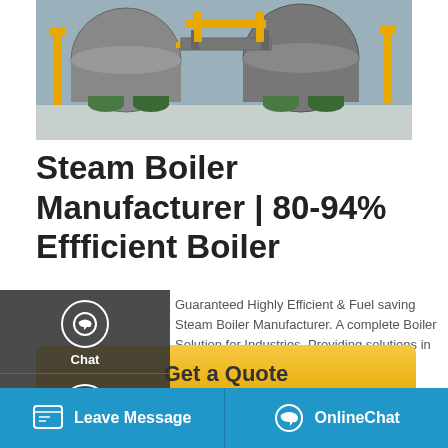[Figure (photo): Industrial steam boilers in a facility, showing large cylindrical boiler units with yellow pipe fittings and green base supports on a shiny floor]
Steam Boiler Manufacturer | 80-94% Effficient Boiler
Guaranteed Highly Efficient & Fuel saving Steam Boiler Manufacturer. A complete Boiler Solution for Industries. Providing solutions in Energy & Environment from more than 20 Years. Fully automatic, Large heatings surface-Excellent heat transfer Assured Quality, Low Maintenance, After sales services
[Figure (infographic): Side navigation panel with Chat, Email, and Contact options on dark semi-transparent background]
[Figure (infographic): Yellow Get a Quote button]
[Figure (infographic): Purple Save Stickers on WhatsApp panel with phone and emoji icons]
Leave Message    OnlineChat